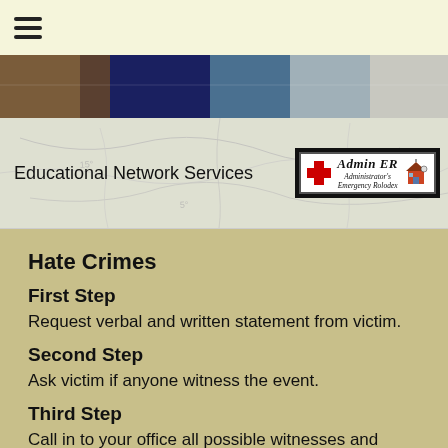[Figure (other): Hamburger menu icon (three horizontal lines) in top navigation bar]
[Figure (photo): Banner image strip showing dark brown, dark blue, and gray tones — likely a school or educational setting photo]
Educational Network Services
[Figure (logo): Admin ER (Administrator's Emergency Rolodex) logo — red cross, school house icon, decorative border]
Hate Crimes
First Step
Request verbal and written statement from victim.
Second Step
Ask victim if anyone witness the event.
Third Step
Call in to your office all possible witnesses and interview them individually.